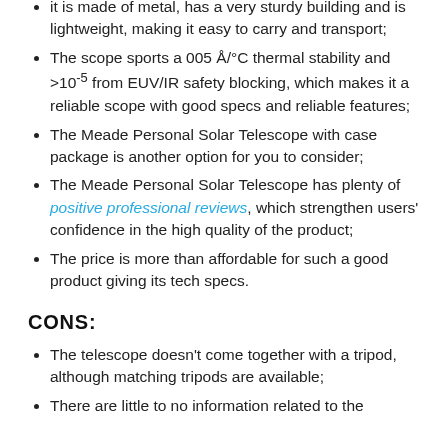it is made of metal, has a very sturdy building and is lightweight, making it easy to carry and transport;
The scope sports a 005 Å/°C thermal stability and >10⁻⁵ from EUV/IR safety blocking, which makes it a reliable scope with good specs and reliable features;
The Meade Personal Solar Telescope with case package is another option for you to consider;
The Meade Personal Solar Telescope has plenty of positive professional reviews, which strengthen users' confidence in the high quality of the product;
The price is more than affordable for such a good product giving its tech specs.
CONS:
The telescope doesn't come together with a tripod, although matching tripods are available;
There are little to no information related to the